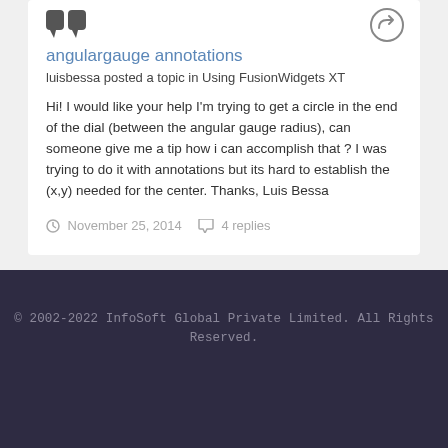angulargauge annotations
luisbessa posted a topic in Using FusionWidgets XT
Hi! I would like your help I'm trying to get a circle in the end of the dial (between the angular gauge radius), can someone give me a tip how i can accomplish that ? I was trying to do it with annotations but its hard to establish the (x,y) needed for the center. Thanks, Luis Bessa
November 25, 2014   4 replies
© 2002-2022  InfoSoft Global Private Limited. All Rights Reserved.